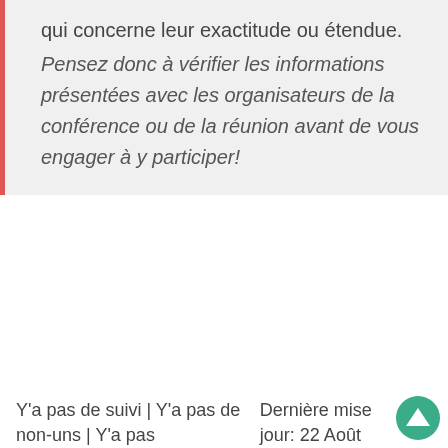qui concerne leur exactitude ou étendue. Pensez donc à vérifier les informations présentées avec les organisateurs de la conférence ou de la réunion avant de vous engager à y participer!
Y'a pas de suivi | Y'a pas de non-uns | Y'a pas
Dernière mise jour: 22 Août